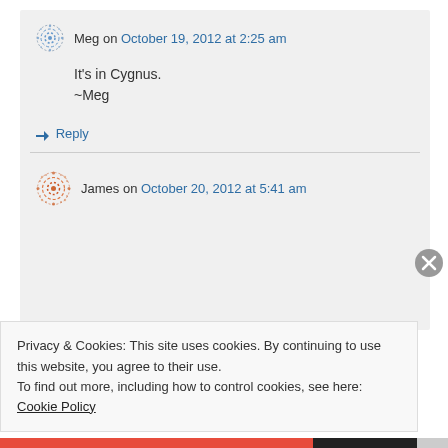Meg on October 19, 2012 at 2:25 am
It's in Cygnus.
~Meg
↳ Reply
James on October 20, 2012 at 5:41 am
Privacy & Cookies: This site uses cookies. By continuing to use this website, you agree to their use.
To find out more, including how to control cookies, see here: Cookie Policy
Close and accept